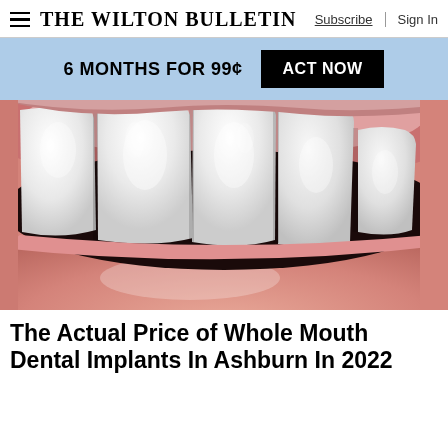The Wilton Bulletin — Subscribe | Sign In
6 MONTHS FOR 99¢  ACT NOW
[Figure (photo): Close-up macro photograph of a human mouth showing white upper front teeth and pink lips/gums, dental implants context.]
The Actual Price of Whole Mouth Dental Implants In Ashburn In 2022